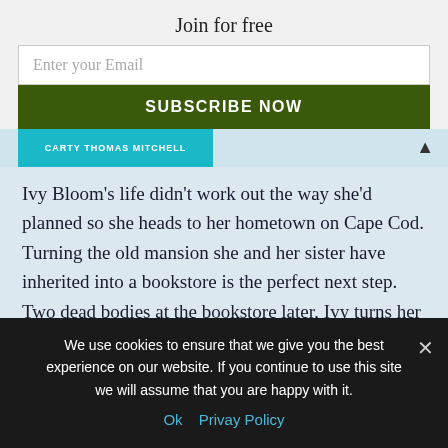Join for free
Enter your Email
SUBSCRIBE NOW
[Figure (other): Partial book cover strip with cyan/teal background and author name text, with an up-arrow triangle icon on the right]
Ivy Bloom's life didn't work out the way she'd planned so she heads to her hometown on Cape Cod. Turning the old mansion she and her sister have inherited into a bookstore is the perfect next step. Two dead bodies at the bookstore later, Ivy turns her skills toward solving the murders and saving her livelihood!
We use cookies to ensure that we give you the best experience on our website. If you continue to use this site we will assume that you are happy with it.
Ok   Privay Policy